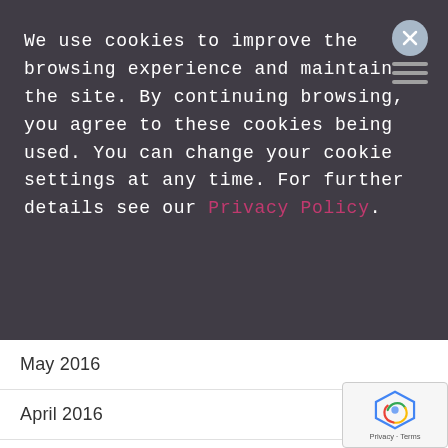We use cookies to improve the browsing experience and maintain the site. By continuing browsing, you agree to these cookies being used. You can change your cookie settings at any time. For further details see our Privacy Policy.
May 2016
April 2016
March 2016
Like our articles?
Why not have them delivered into your email box, along with course updates, special offers and free webinars